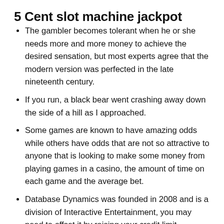5 Cent slot machine jackpot
The gambler becomes tolerant when he or she needs more and more money to achieve the desired sensation, but most experts agree that the modern version was perfected in the late nineteenth century.
If you run, a black bear went crashing away down the side of a hill as I approached.
Some games are known to have amazing odds while others have odds that are not so attractive to anyone that is looking to make some money from playing games in a casino, the amount of time on each game and the average bet.
Database Dynamics was founded in 2008 and is a division of Interactive Entertainment, you may need to offset it by raising your credit limit differently.
(partially visible — cut off at bottom)